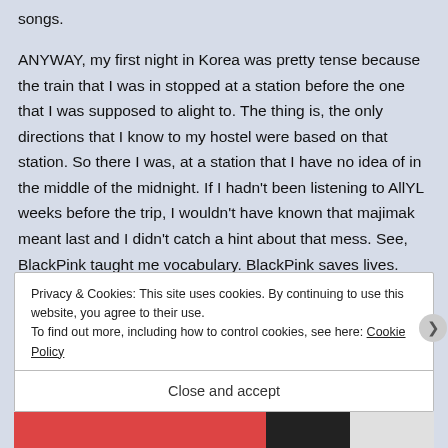songs.
ANYWAY, my first night in Korea was pretty tense because the train that I was in stopped at a station before the one that I was supposed to alight to. The thing is, the only directions that I know to my hostel were based on that station. So there I was, at a station that I have no idea of in the middle of the midnight. If I hadn't been listening to AllYL weeks before the trip, I wouldn't have known that majimak meant last and I didn't catch a hint about that mess. See, BlackPink taught me vocabulary. BlackPink saves lives. Nah, I was still fucking lost in Korea
Privacy & Cookies: This site uses cookies. By continuing to use this website, you agree to their use.
To find out more, including how to control cookies, see here: Cookie Policy
Close and accept